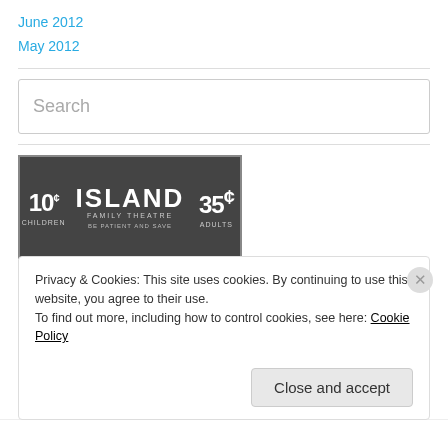June 2012
May 2012
Search
[Figure (logo): Island Family Theatre logo/advertisement. Shows '10¢ CHILDREN' on the left, 'ISLAND FAMILY THEATRE' in the center, '35¢ ADULTS' on the right, and 'BE PATIENT AND SAVE' as tagline at bottom.]
Privacy & Cookies: This site uses cookies. By continuing to use this website, you agree to their use. To find out more, including how to control cookies, see here: Cookie Policy
Close and accept